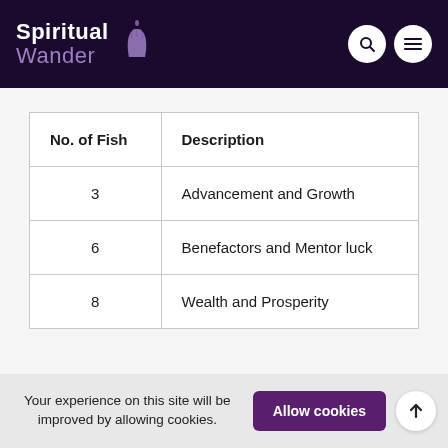Spiritual Wander
| No. of Fish | Description |
| --- | --- |
| 3 | Advancement and Growth |
| 6 | Benefactors and Mentor luck |
| 8 | Wealth and Prosperity |
Your experience on this site will be improved by allowing cookies.
Allow cookies